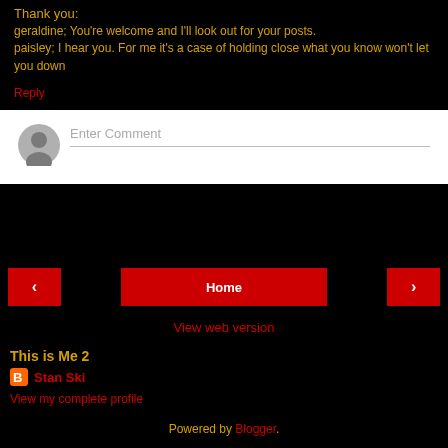Thank you:
geraldine; You're welcome and I'll look out for your posts.
paisley; I hear you. For me it's a case of holding close what you know won't let you down
Reply
[Figure (screenshot): Comment input box with user avatar placeholder and 'Enter Comment' input field]
[Figure (screenshot): Navigation buttons: left arrow, Home button, right arrow]
View web version
This is Me 2
Stan Ski
View my complete profile
Powered by Blogger.